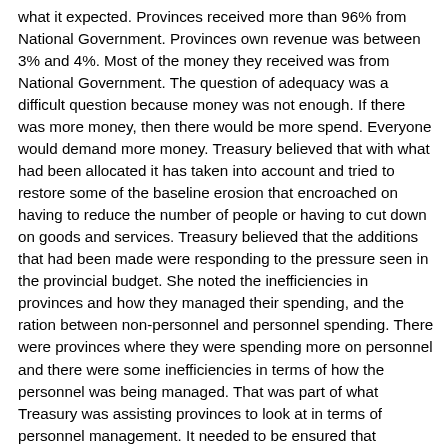what it expected. Provinces received more than 96% from National Government. Provinces own revenue was between 3% and 4%. Most of the money they received was from National Government. The question of adequacy was a difficult question because money was not enough. If there was more money, then there would be more spend. Everyone would demand more money. Treasury believed that with what had been allocated it has taken into account and tried to restore some of the baseline erosion that encroached on having to reduce the number of people or having to cut down on goods and services. Treasury believed that the additions that had been made were responding to the pressure seen in the provincial budget. She noted the inefficiencies in provinces and how they managed their spending, and the ration between non-personnel and personnel spending. There were provinces where they were spending more on personnel and there were some inefficiencies in terms of how the personnel was being managed. That was part of what Treasury was assisting provinces to look at in terms of personnel management. It needed to be ensured that provinces were the right size and had the right people. There were some differences in terms of the ratios of how much was spent on personnel and non-personnel between the provinces. The allocation was not static but settled above that it needed to be ensured that